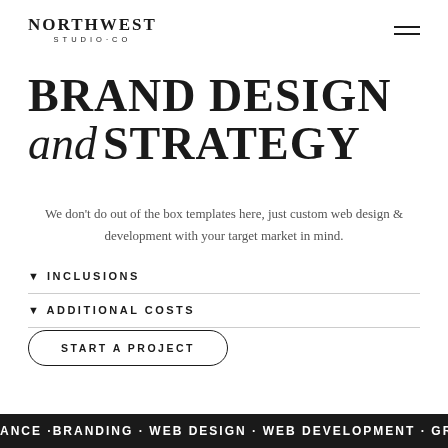NORTHWEST STUDIO·CO
BRAND DESIGN and STRATEGY
We don't do out of the box templates here, just custom web design & development with your target market in mind.
▾ INCLUSIONS
▾ ADDITIONAL COSTS
START A PROJECT
ANCE ·BRANDING · WEB DESIGN · WEB DEVELOPMENT · GRAPHIC